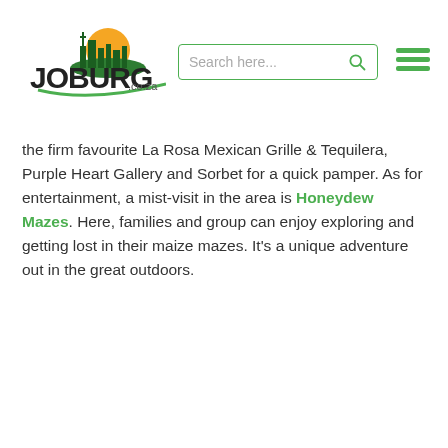[Figure (logo): Joburg.co.za logo with city skyline and sun icon, bold stylized text reading JOBURG.co.za]
[Figure (screenshot): Search bar with placeholder text 'Search here...' and green search icon, plus green hamburger menu icon]
the firm favourite La Rosa Mexican Grille & Tequilera, Purple Heart Gallery and Sorbet for a quick pamper. As for entertainment, a mist-visit in the area is Honeydew Mazes. Here, families and group can enjoy exploring and getting lost in their maize mazes. It's a unique adventure out in the great outdoors.